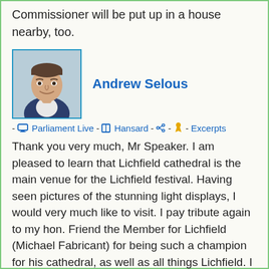Commissioner will be put up in a house nearby, too.
[Figure (photo): Headshot photo of Andrew Selous, a man in a suit, smiling slightly against a plain background.]
Andrew Selous
- Parliament Live - Hansard - [share icon] - [bell icon] - Excerpts
Thank you very much, Mr Speaker. I am pleased to learn that Lichfield cathedral is the main venue for the Lichfield festival. Having seen pictures of the stunning light displays, I would very much like to visit. I pay tribute again to my hon. Friend the Member for Lichfield (Michael Fabricant) for being such a champion for his cathedral, as well as all things Lichfield. I encourage the Members of Parliament for the other 41 cathedrals to follow his example and champion their cathedrals in the way he champions his.